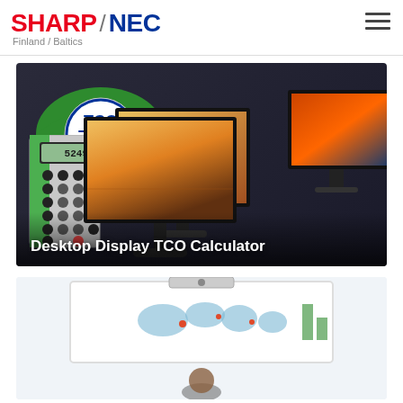SHARP / NEC — Finland / Baltics
[Figure (screenshot): Desktop Display TCO Calculator promotional banner featuring TCO Certified logo (green eye shape with blue TCO Certified badge), a green calculator showing 5249, and three NEC desktop monitors displaying colorful images]
Desktop Display TCO Calculator
[Figure (screenshot): Partially visible second card showing a whiteboard or display with a world map, charts, and a person visible at the bottom]